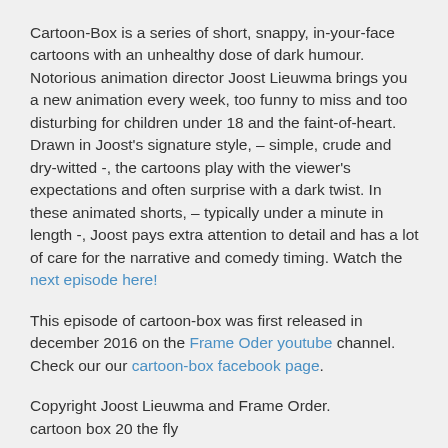Cartoon-Box is a series of short, snappy, in-your-face cartoons with an unhealthy dose of dark humour. Notorious animation director Joost Lieuwma brings you a new animation every week, too funny to miss and too disturbing for children under 18 and the faint-of-heart. Drawn in Joost's signature style, – simple, crude and dry-witted -, the cartoons play with the viewer's expectations and often surprise with a dark twist. In these animated shorts, – typically under a minute in length -, Joost pays extra attention to detail and has a lot of care for the narrative and comedy timing. Watch the next episode here!
This episode of cartoon-box was first released in december 2016 on the Frame Oder youtube channel. Check our our cartoon-box facebook page.
Copyright Joost Lieuwma and Frame Order.
cartoon box 20 the fly